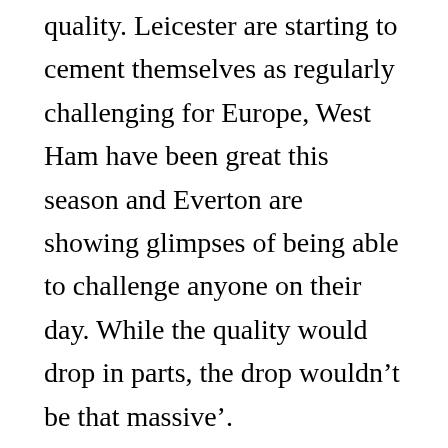quality. Leicester are starting to cement themselves as regularly challenging for Europe, West Ham have been great this season and Everton are showing glimpses of being able to challenge anyone on their day. While the quality would drop in parts, the drop wouldn't be that massive'.
What were your thoughts on Florentino Perez's comments? Perez is the director of Real Madrid and was going to be the chairman of the proposed ESL, he said